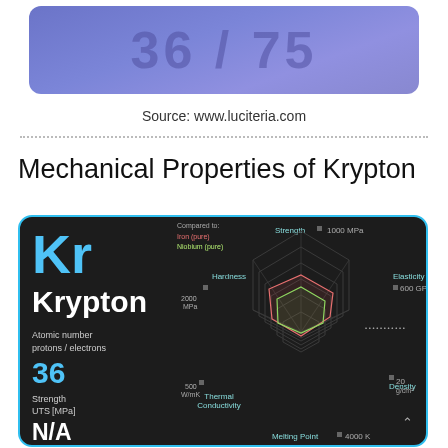[Figure (photo): Cropped blue/purple image strip at the top, partial view of a previous page element showing a gradient blue-purple background with faint large text.]
Source: www.luciteria.com
Mechanical Properties of Krypton
[Figure (infographic): Dark-themed element card for Krypton (Kr, atomic number 36) with a radar/spider chart showing mechanical properties: Strength (1000 MPa), Elasticity (600 GPa), Density (20 g/cm³), Melting Point (4000 K), Thermal Conductivity (500 W/mK), Hardness (2000 MPa). Legend shows comparison to Iron (red) and Niobium (green). Left panel shows element symbol Kr, name Krypton, atomic number 36, and Strength UTS [MPa] listed as N/A.]